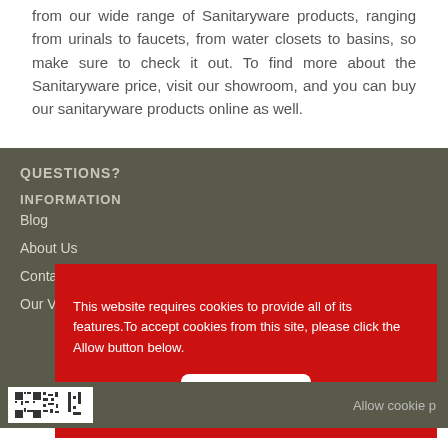from our wide range of Sanitaryware products, ranging from urinals to faucets, from water closets to basins, so make sure to check it out. To find more about the Sanitaryware price, visit our showroom, and you can buy our sanitaryware products online as well.
QUESTIONS?
INFORMATION
Blog
About Us
Contact Us
Our Video
This website requires cookies to provide all of its features. To accept cookies from this site, please click the Allow button below.